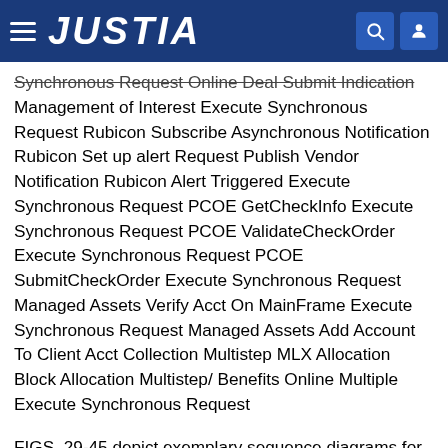JUSTIA
Synchronous Request Online Deal Submit Indication Management of Interest Execute Synchronous Request Rubicon Subscribe Asynchronous Notification Rubicon Set up alert Request Publish Vendor Notification Rubicon Alert Triggered Execute Synchronous Request PCOE GetCheckInfo Execute Synchronous Request PCOE ValidateCheckOrder Execute Synchronous Request PCOE SubmitCheckOrder Execute Synchronous Request Managed Assets Verify Acct On MainFrame Execute Synchronous Request Managed Assets Add Account To Client Acct Collection Multistep MLX Allocation Block Allocation Multistep/ Benefits Online Multiple Execute Synchronous Request
FIGS. 29-45 depict exemplary sequence diagrams for applications and transactions detailed in Table 11.